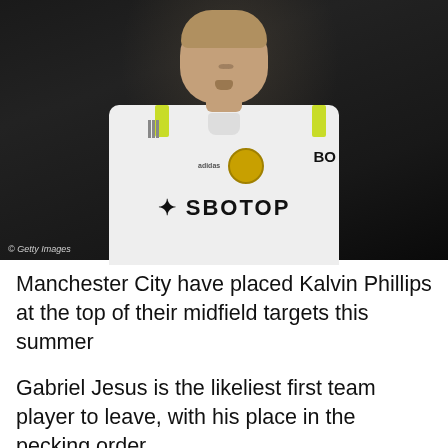[Figure (photo): Kalvin Phillips in a white Leeds United jersey with SBOTOP sponsor, Adidas logo, and yellow/green shoulder stripes. Dark background, Getty Images watermark in bottom-left corner.]
© Getty Images
Manchester City have placed Kalvin Phillips at the top of their midfield targets this summer
Gabriel Jesus is the likeliest first team player to leave, with his place in the pecking order